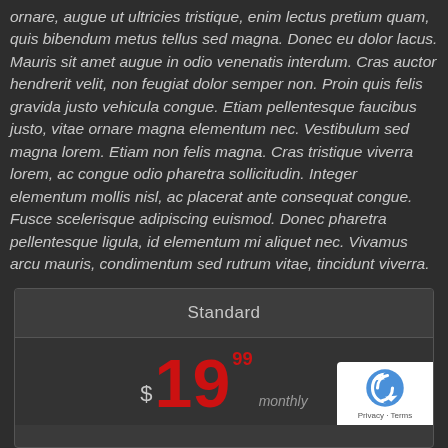ornare, augue ut ultricies tristique, enim lectus pretium quam, quis bibendum metus tellus sed magna. Donec eu dolor lacus. Mauris sit amet augue in odio venenatis interdum. Cras auctor hendrerit velit, non feugiat dolor semper non. Proin quis felis gravida justo vehicula congue. Etiam pellentesque faucibus justo, vitae ornare magna elementum nec. Vestibulum sed magna lorem. Etiam non felis magna. Cras tristique viverra lorem, ac congue odio pharetra sollicitudin. Integer elementum mollis nisl, ac placerat ante consequat congue. Fusce scelerisque adipiscing euismod. Donec pharetra pellentesque ligula, id elementum mi aliquet nec. Vivamus arcu mauris, condimentum sed rutrum vitae, tincidunt viverra.
| Standard |
| --- |
| $19.99 monthly |